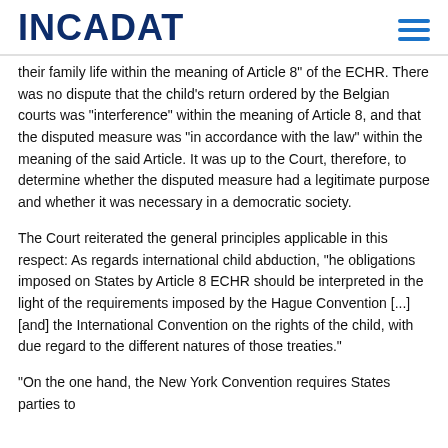INCADAT
their family life within the meaning of Article 8" of the ECHR. There was no dispute that the child's return ordered by the Belgian courts was "interference" within the meaning of Article 8, and that the disputed measure was "in accordance with the law" within the meaning of the said Article. It was up to the Court, therefore, to determine whether the disputed measure had a legitimate purpose and whether it was necessary in a democratic society.
The Court reiterated the general principles applicable in this respect: As regards international child abduction, "he obligations imposed on States by Article 8 ECHR should be interpreted in the light of the requirements imposed by the Hague Convention [...] [and] the International Convention on the rights of the child, with due regard to the different natures of those treaties."
"On the one hand, the New York Convention requires States parties to